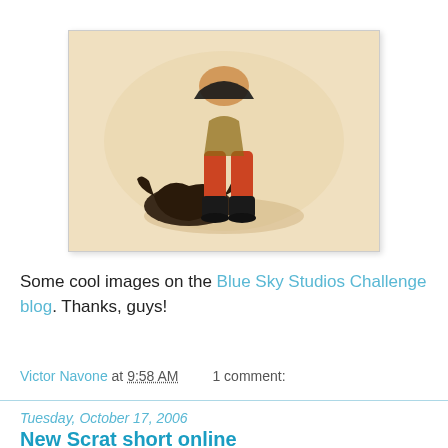[Figure (illustration): Vintage-style sepia illustration showing a figure in red/orange pants and black boots bending over a dark creature on a beige background]
Some cool images on the Blue Sky Studios Challenge blog. Thanks, guys!
Victor Navone at 9:58 AM   1 comment:
Tuesday, October 17, 2006
New Scrat short online
Nevermind, it got pulled down. Look for it on the Ice Age 2 DVD!